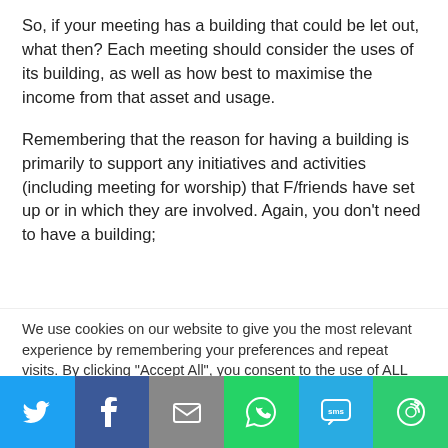So, if your meeting has a building that could be let out, what then? Each meeting should consider the uses of its building, as well as how best to maximise the income from that asset and usage.
Remembering that the reason for having a building is primarily to support any initiatives and activities (including meeting for worship) that F/friends have set up or in which they are involved. Again, you don’t need to have a building;
We use cookies on our website to give you the most relevant experience by remembering your preferences and repeat visits. By clicking “Accept All”, you consent to the use of ALL the cookies. However, you may visit "Cookie Settings" to provide a controlled consent.
[Figure (infographic): Social sharing toolbar with six buttons: Twitter (blue bird icon), Facebook (dark blue f icon), Email (grey envelope icon), WhatsApp (green phone/chat icon), SMS (blue SMS bubble icon), and More (green circular arrow icon).]